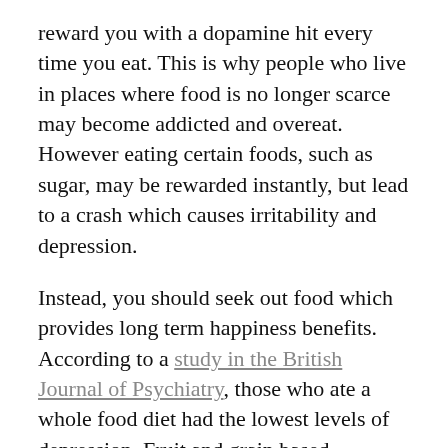reward you with a dopamine hit every time you eat. This is why people who live in places where food is no longer scarce may become addicted and overeat. However eating certain foods, such as sugar, may be rewarded instantly, but lead to a crash which causes irritability and depression.
Instead, you should seek out food which provides long term happiness benefits. According to a study in the British Journal of Psychiatry, those who ate a whole food diet had the lowest levels of depression. Fruit and grain based carbohydrates, as well as dark green leafy greens were considered the most effective superfoods for increasing physical health and lowering levels of depression.